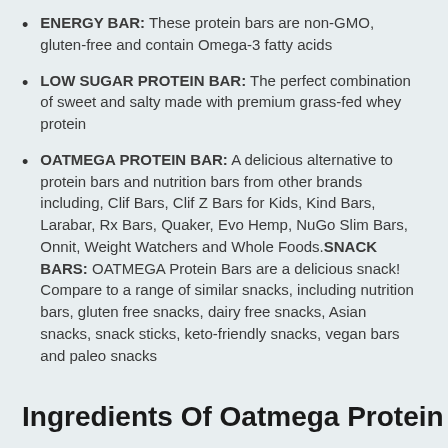ENERGY BAR: These protein bars are non-GMO, gluten-free and contain Omega-3 fatty acids
LOW SUGAR PROTEIN BAR: The perfect combination of sweet and salty made with premium grass-fed whey protein
OATMEGA PROTEIN BAR: A delicious alternative to protein bars and nutrition bars from other brands including, Clif Bars, Clif Z Bars for Kids, Kind Bars, Larabar, Rx Bars, Quaker, Evo Hemp, NuGo Slim Bars, Onnit, Weight Watchers and Whole Foods.SNACK BARS: OATMEGA Protein Bars are a delicious snack! Compare to a range of similar snacks, including nutrition bars, gluten free snacks, dairy free snacks, Asian snacks, snack sticks, keto-friendly snacks, vegan bars and paleo snacks
Ingredients Of Oatmega Protein